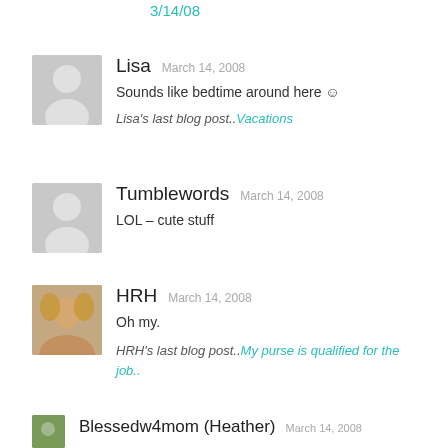3/14/08
Lisa  March 14, 2008
Sounds like bedtime around here ☺
Lisa's last blog post..Vacations
Tumblewords  March 14, 2008
LOL – cute stuff
HRH  March 14, 2008
Oh my.
HRH's last blog post..My purse is qualified for the job..
Blessedw4mom (Heather)  March 14, 2008